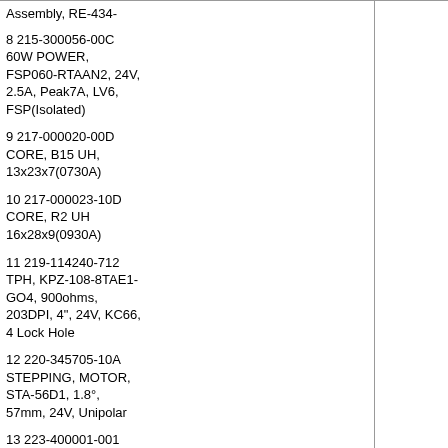Assembly, RE-434-
8 215-300056-00C 60W POWER, FSP060-RTAAN2, 24V, 2.5A, Peak7A, LV6, FSP(Isolated)
9 217-000020-00D CORE, B15 UH, 13x23x7(0730A)
10 217-000023-10D CORE, R2 UH 16x28x9(0930A)
11 219-114240-712 TPH, KPZ-108-8TAE1-GO4, 900ohms, 203DPI, 4", 24V, KC66, 4 Lock Hole
12 220-345705-10A STEPPING, MOTOR, STA-56D1, 1.8°, 57mm, 24V, Unipolar
13 223-400001-001 BATTERY, 3V, CR-2032
14 227-104050-060 HOUSING, MOX2.54-